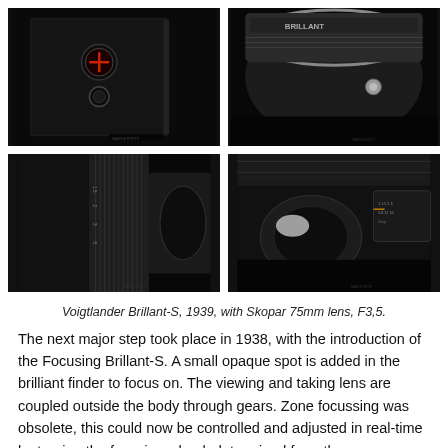[Figure (photo): Top-left: Close-up of black camera body showing red cross viewfinder window and circular dial, dark background]
[Figure (photo): Top-right: Close-up of silver camera lens barrel with engraved markings and a small metal lug, dark background]
[Figure (photo): Bottom-left: Close-up of black camera lens and focusing mechanism with ridged metal ring, dark]
[Figure (photo): Bottom-right: Close-up of camera lens with aperture/shutter speed dial markings visible, dark background]
Voigtlander Brillant-S, 1939, with Skopar 75mm lens, F3,5.
The next major step took place in 1938, with the introduction of the Focusing Brillant-S. A small opaque spot is added in the brilliant finder to focus on. The viewing and taking lens are coupled outside the body through gears. Zone focussing was obsolete, this could now be controlled and adjusted in real-time by turning the focusing wheel, determined from the photography...